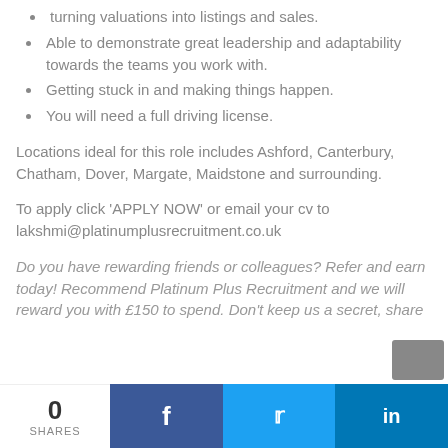turning valuations into listings and sales.
Able to demonstrate great leadership and adaptability towards the teams you work with.
Getting stuck in and making things happen.
You will need a full driving license.
Locations ideal for this role includes Ashford, Canterbury, Chatham, Dover, Margate, Maidstone and surrounding.
To apply click 'APPLY NOW' or email your cv to lakshmi@platinumplusrecruitment.co.uk
Do you have rewarding friends or colleagues? Refer and earn today! Recommend Platinum Plus Recruitment and we will reward you with £150 to spend. Don't keep us a secret, share
0 SHARES  f  t  in